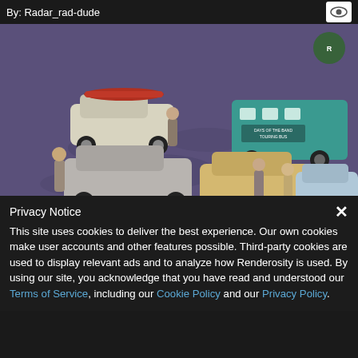By: Radar_rad-dude
[Figure (screenshot): 3D rendered scene showing multiple vintage cars and female characters on a purple-toned ground, including a white car with red canoe, a teal tour bus labeled 'Days of the Band Touring Bus', and two other cars. Isometric-style view.]
Privacy Notice
This site uses cookies to deliver the best experience. Our own cookies make user accounts and other features possible. Third-party cookies are used to display relevant ads and to analyze how Renderosity is used. By using our site, you acknowledge that you have read and understood our Terms of Service, including our Cookie Policy and our Privacy Policy.